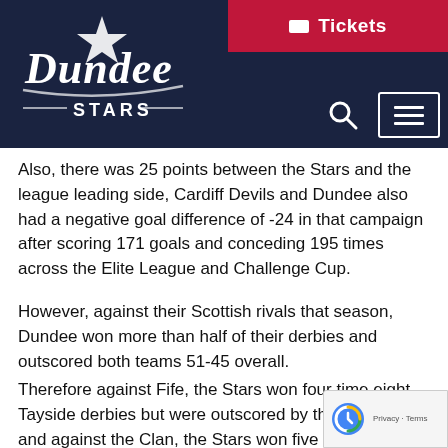[Figure (logo): Dundee Stars ice hockey team logo in white cursive script on dark navy background]
Tickets
Also, there was 25 points between the Stars and the league leading side, Cardiff Devils and Dundee also had a negative goal difference of -24 in that campaign after scoring 171 goals and conceding 195 times across the Elite League and Challenge Cup.
However, against their Scottish rivals that season, Dundee won more than half of their derbies and outscored both teams 51-45 overall.
Therefore against Fife, the Stars won four times eight Tayside derbies but were outscored by the Flyers 21-19 and against the Clan, the Stars won five